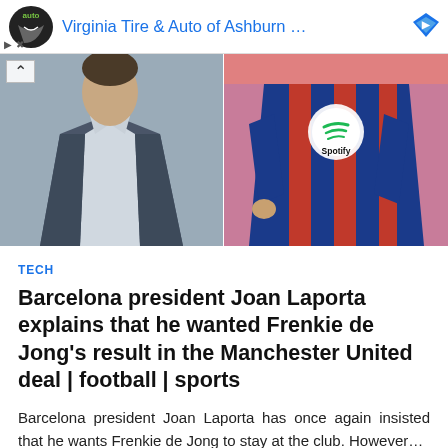[Figure (other): Advertisement banner for Virginia Tire & Auto of Ashburn with logo and blue diamond icon]
[Figure (photo): Two side-by-side photos: left shows a person in a grey jacket and white shirt, right shows a person wearing a Barcelona FC blue and red striped Spotify jersey]
TECH
Barcelona president Joan Laporta explains that he wanted Frenkie de Jong's result in the Manchester United deal | football | sports
Barcelona president Joan Laporta has once again insisted that he wants Frenkie de Jong to stay at the club. However...